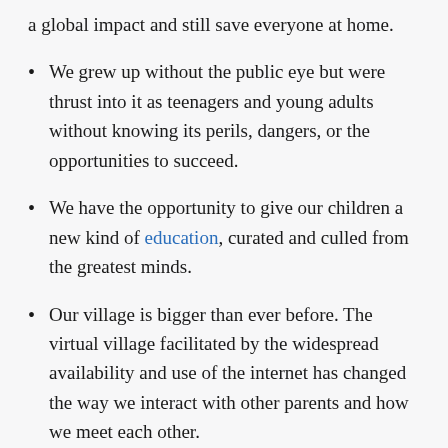a global impact and still save everyone at home.
We grew up without the public eye but were thrust into it as teenagers and young adults without knowing its perils, dangers, or the opportunities to succeed.
We have the opportunity to give our children a new kind of education, curated and culled from the greatest minds.
Our village is bigger than ever before. The virtual village facilitated by the widespread availability and use of the internet has changed the way we interact with other parents and how we meet each other.
We have access to unlimited resources to